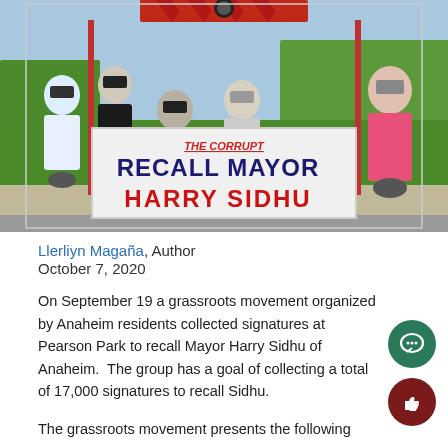[Figure (photo): Photo of a group of people standing outside at Pearson Park holding a banner that reads 'THE CORRUPT RECALL MAYOR HARRY SIDHU'. People are wearing masks. There is green grass in the background and a red decorative banner at the top.]
Llerliyn Magaña, Author
October 7, 2020
On September 19 a grassroots movement organized by Anaheim residents collected signatures at Pearson Park to recall Mayor Harry Sidhu of Anaheim.  The group has a goal of collecting a total of 17,000 signatures to recall Sidhu.
The grassroots movement presents the following